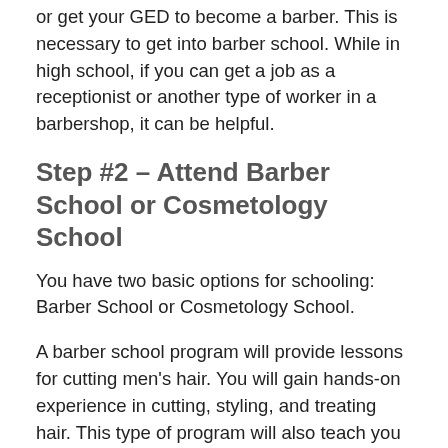As stated above, you need to complete high school or get your GED to become a barber. This is necessary to get into barber school. While in high school, if you can get a job as a receptionist or another type of worker in a barbershop, it can be helpful.
Step #2 – Attend Barber School or Cosmetology School
You have two basic options for schooling: Barber School or Cosmetology School.
A barber school program will provide lessons for cutting men's hair. You will gain hands-on experience in cutting, styling, and treating hair. This type of program will also teach you facial shaving